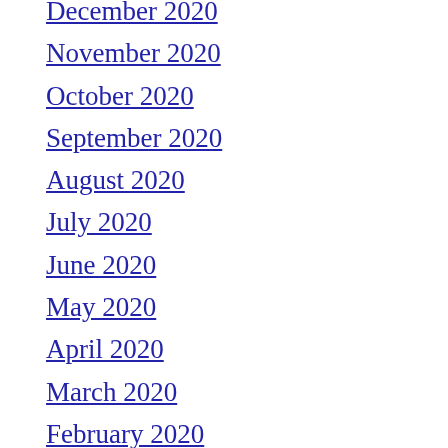December 2020
November 2020
October 2020
September 2020
August 2020
July 2020
June 2020
May 2020
April 2020
March 2020
February 2020
December 2019
November 2019
October 2019